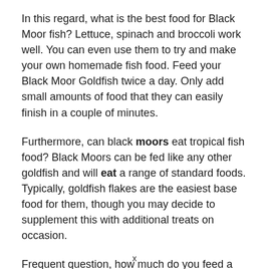In this regard, what is the best food for Black Moor fish? Lettuce, spinach and broccoli work well. You can even use them to try and make your own homemade fish food. Feed your Black Moor Goldfish twice a day. Only add small amounts of food that they can easily finish in a couple of minutes.
Furthermore, can black moors eat tropical fish food? Black Moors can be fed like any other goldfish and will eat a range of standard foods. Typically, goldfish flakes are the easiest base food for them, though you may decide to supplement this with additional treats on occasion.
Frequent question, how much do you feed a Black Moor? Best Prices Here! The general rule of thumb would be once to twice daily in the amount of what they will eat in three minutes. A day of fasting can also be included to prevent constipation and to
x